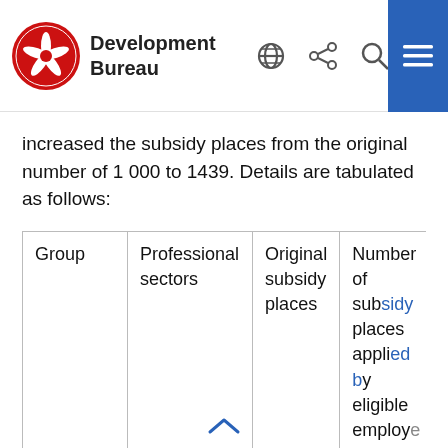Development Bureau
increased the subsidy places from the original number of 1 000 to 1439. Details are tabulated as follows:
| Group | Professional sectors | Original subsidy places | Number of subsidy places applied by eligible employees |
| --- | --- | --- | --- |
| Fresh graduates | Architectural | 168 | 239 |